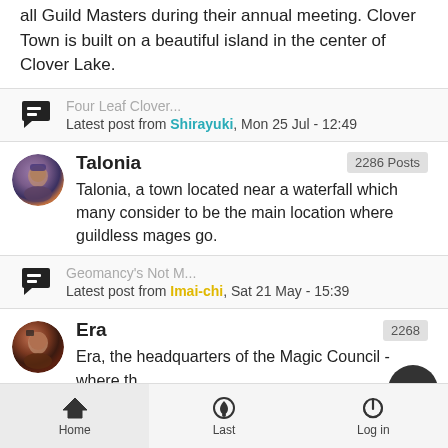all Guild Masters during their annual meeting. Clover Town is built on a beautiful island in the center of Clover Lake.
Four Leaf Clover... Latest post from Shirayuki, Mon 25 Jul - 12:49
Talonia 2286 Posts
Talonia, a town located near a waterfall which many consider to be the main location where guildless mages go.
Geomancy's Not M... Latest post from Imai-chi, Sat 21 May - 15:39
Era 2268
Era, the headquarters of the Magic Council - where the future of the magic world is decided. There is a gigantic
Home   Last   Log in